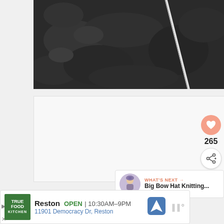[Figure (photo): Close-up black and white photo of a knitting needle or thin metallic rod against a dark textured background]
[Figure (infographic): Social interaction panel showing a heart/like button with salmon color, count of 265, and a share button below it]
[Figure (infographic): What's Next panel showing an avatar thumbnail and text 'Big Bow Hat Knitting...' with label 'WHAT'S NEXT →']
[Figure (infographic): Advertisement bar for True Food Kitchen with logo, Reston location, OPEN status, hours 10:30AM-9PM, address 11901 Democracy Dr Reston, navigation icon, and weather/app icon]